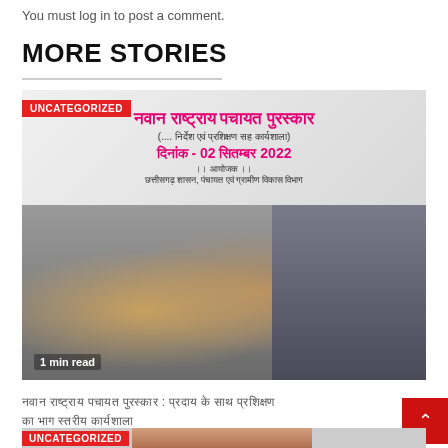You must log in to post a comment.
MORE STORIES
[Figure (photo): Event banner in Hindi for Nutan Rashtriya Panchayat Puraskar, dated 02 September 2022, organized by Chhattisgarh Shasan Panchayat evam Gramin Vikas Vibhag. Below is a photo of a crowd attending the event with a speaker on the right side. Badge reads UNCATEGORIZED. Caption: 1 min read.]
नवान राष्ट्राय पचायत पुरस्कार : प्रदाय के साथ प्रशिक्षण का भाग स्तरीय कार्यशाला
[Figure (photo): Partial view of second story card showing a face photo and UNCATEGORIZED badge at bottom of the page.]